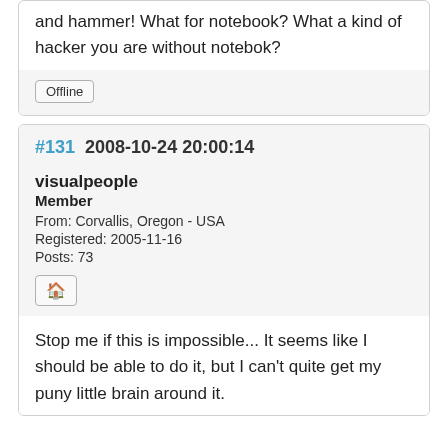and hammer! What for notebook? What a kind of hacker you are without notebok?
Offline
#131  2008-10-24 20:00:14
visualpeople
Member
From: Corvallis, Oregon - USA
Registered: 2005-11-16
Posts: 73
Stop me if this is impossible... It seems like I should be able to do it, but I can't quite get my puny little brain around it.